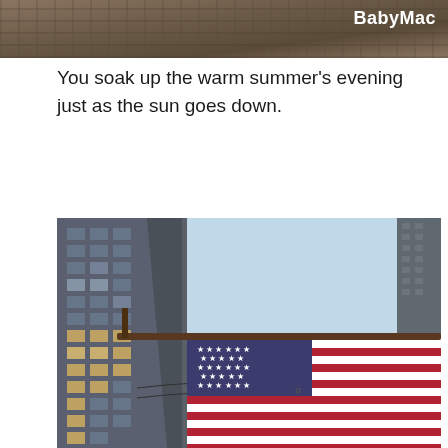[Figure (photo): Top portion of a photo showing a stone/brick wall texture with 'BabyMac' text overlay in white on the right side]
You soak up the warm summer's evening just as the sun goes down.
[Figure (photo): Photo looking up at an American flag hanging from a flagpole attached to a tall glass office building, with blue sky in the background and power lines visible]